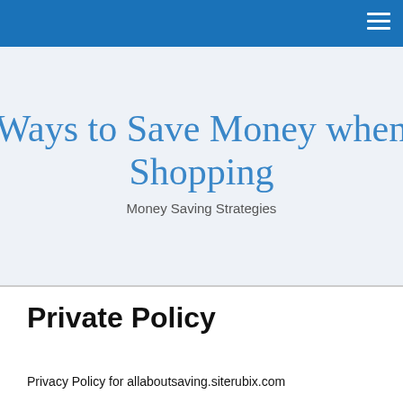Ways to Save Money when Shopping
Money Saving Strategies
Private Policy
Privacy Policy for allaboutsaving.siterubix.com